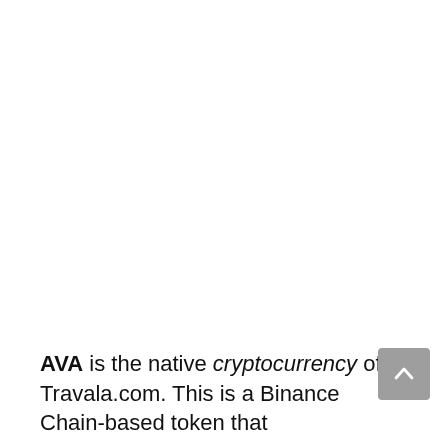AVA is the native cryptocurrency of Travala.com. This is a Binance Chain-based token that...